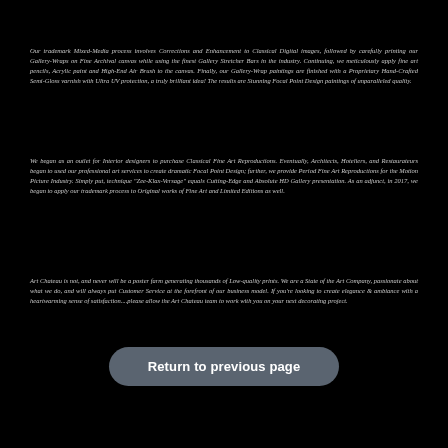Our trademark Mixed-Media process involves Corrections and Enhancement to Classical Digital images, followed by carefully printing our Gallery-Wraps on Fine Archival canvas while using the finest Gallery Stretcher Bars in the industry. Continuing, we meticulously apply fine art pencils, Acrylic paint and High-End Air Brush to the canvas. Finally, our Gallery-Wrap paintings are finished with a Proprietary Hand-Crafted Semi-Gloss varnish with Ultra UV protection, a truly brilliant idea! The results are Stunning Focal Point Design paintings of unparalleled quality.
We began as an outlet for Interior designers to purchase Classical Fine Art Reproductions. Eventually, Architects, Hoteliers, and Restaurateurs began to used our professional art services to create dramatic Focal Point Design; further, we provide Period Fine Art Reproductions for the Motion Picture Industry. Simply put, technique "Zee-Klax-Versage" equals Cutting-Edge and Absolute HD Gallery presentation. As an adjunct, in 2017, we began to apply our trademark process to Original works of Fine Art and Limited Editions as well.
Art Chateau is not, and never will be a poster farm generating thousands of Low-quality prints. We are a State of the Art Company, passionate about what we do, and will always put Customer Service at the forefront of our business model. If you're looking to create elegance & ambiance with a heartwarming sense of satisfaction....please allow the Art Chateau team to work with you on your next decorating project.
Return to previous page